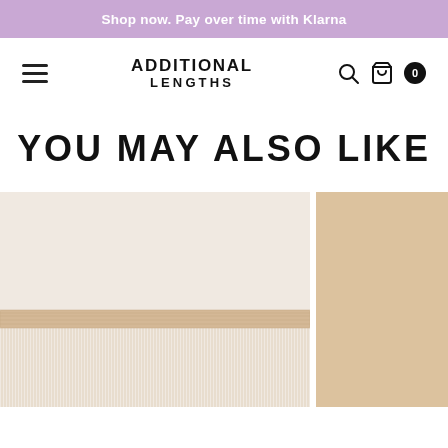Shop now. Pay over time with Klarna
[Figure (screenshot): Additional Lengths website navigation bar with hamburger menu, logo, search icon, bag icon, and cart count badge showing 0]
YOU MAY ALSO LIKE
[Figure (photo): Close-up photo of blonde hair weft/extension showing the weft band at the bottom and long straight blonde hair strands hanging down — left product thumbnail]
[Figure (photo): Close-up photo of blonde hair extension strands — right product thumbnail]